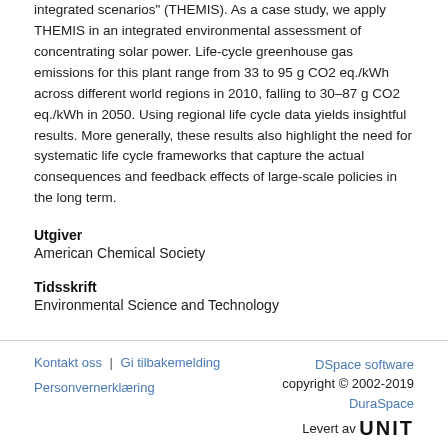integrated scenarios" (THEMIS). As a case study, we apply THEMIS in an integrated environmental assessment of concentrating solar power. Life-cycle greenhouse gas emissions for this plant range from 33 to 95 g CO2 eq./kWh across different world regions in 2010, falling to 30–87 g CO2 eq./kWh in 2050. Using regional life cycle data yields insightful results. More generally, these results also highlight the need for systematic life cycle frameworks that capture the actual consequences and feedback effects of large-scale policies in the long term.
Utgiver
American Chemical Society
Tidsskrift
Environmental Science and Technology
Kontakt oss | Gi tilbakemelding   Personvernerklæring   DSpace software copyright © 2002-2019 DuraSpace   Levert av UNIT